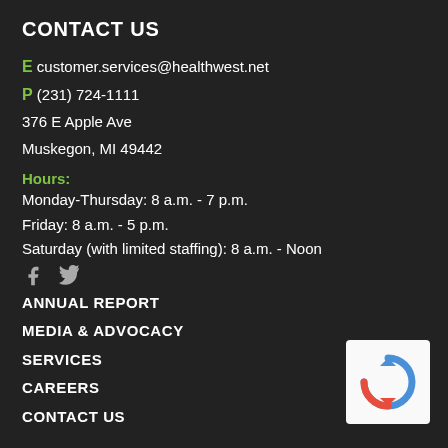CONTACT US
E customer.services@healthwest.net
P (231) 724-1111
376 E Apple Ave
Muskegon, MI 49442
Hours:
Monday-Thursday: 8 a.m. - 7 p.m.
Friday: 8 a.m. - 5 p.m.
Saturday (with limited staffing): 8 a.m. - Noon
[Figure (illustration): Facebook and Twitter social media icons]
ANNUAL REPORT
MEDIA & ADVOCACY
SERVICES
CAREERS
CONTACT US
[Figure (other): reCAPTCHA verification widget]